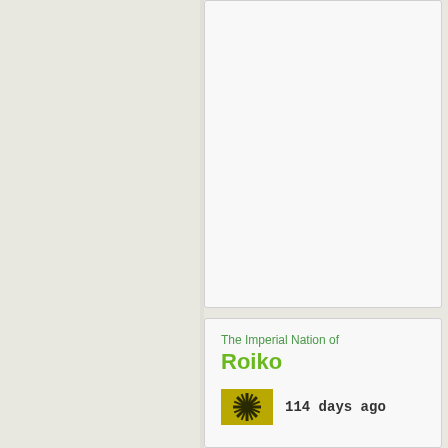[Figure (other): Left sidebar panel with light beige/gray background]
[Figure (other): Top card panel - white/light gray empty content area]
The Imperial Nation of
Roiko
[Figure (other): Nation flag - olive/yellow-green with black starburst/sun rays pattern]
114 days ago